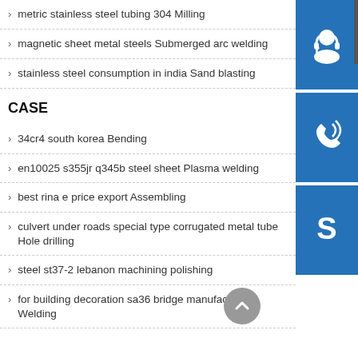metric stainless steel tubing 304 Milling
magnetic sheet metal steels Submerged arc welding
stainless steel consumption in india Sand blasting
CASE
34cr4 south korea Bending
en10025 s355jr q345b steel sheet Plasma welding
best rina e price export Assembling
culvert under roads special type corrugated metal tube Hole drilling
steel st37-2 lebanon machining polishing
for building decoration sa36 bridge manufacture Welding
[Figure (illustration): Three blue square icons stacked vertically on the right sidebar: headset/support icon, phone with signal waves icon, and Skype logo icon]